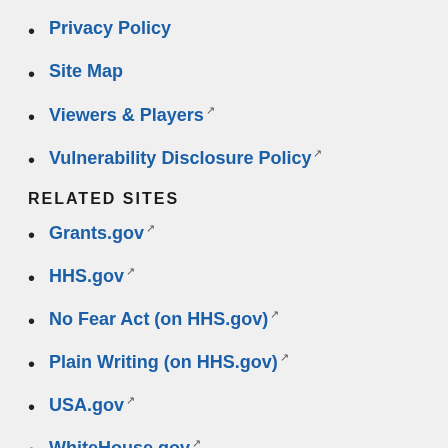Privacy Policy
Site Map
Viewers & Players
Vulnerability Disclosure Policy
RELATED SITES
Grants.gov
HHS.gov
No Fear Act (on HHS.gov)
Plain Writing (on HHS.gov)
USA.gov
WhiteHouse.gov
FOLLOW ACI